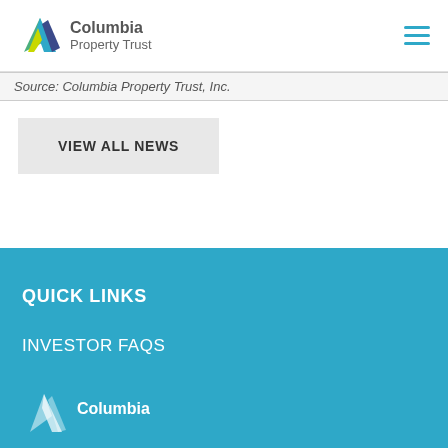[Figure (logo): Columbia Property Trust logo with multicolor geometric mark]
Source: Columbia Property Trust, Inc.
VIEW ALL NEWS
QUICK LINKS
INVESTOR FAQS
[Figure (logo): Columbia Property Trust white logo at bottom of blue footer section]